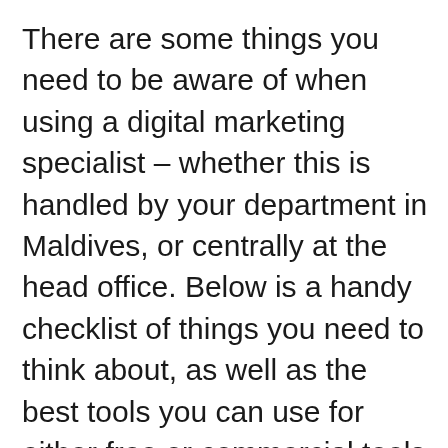There are some things you need to be aware of when using a digital marketing specialist – whether this is handled by your department in Maldives, or centrally at the head office. Below is a handy checklist of things you need to think about, as well as the best tools you can use for either free or commercial tools where free alternatives are not available or significantly inferior to the commercial ones.